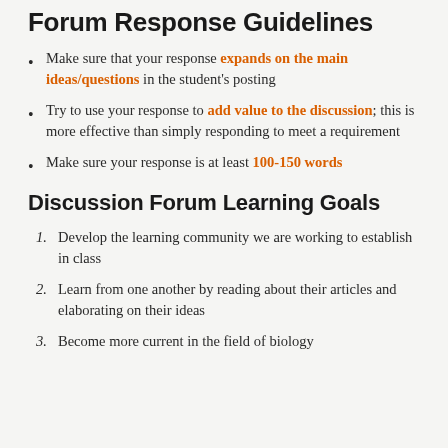Forum Response Guidelines
Make sure that your response expands on the main ideas/questions in the student's posting
Try to use your response to add value to the discussion; this is more effective than simply responding to meet a requirement
Make sure your response is at least 100-150 words
Discussion Forum Learning Goals
Develop the learning community we are working to establish in class
Learn from one another by reading about their articles and elaborating on their ideas
Become more current in the field of biology